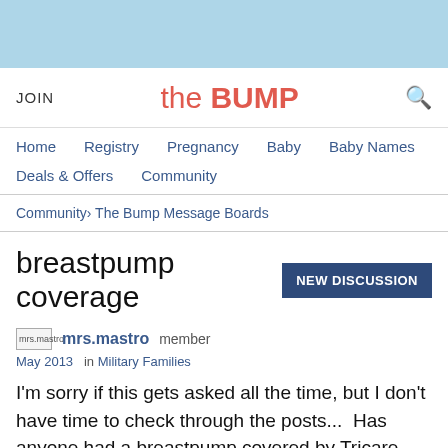[Figure (other): Light blue banner at top of page]
JOIN   the BUMP   [search icon]
Home  Registry  Pregnancy  Baby  Baby Names  Deals & Offers  Community
Community › The Bump Message Boards
breastpump coverage
mrs.mastro  member
May 2013  in Military Families
I'm sorry if this gets asked all the time, but I don't have time to check through the posts...  Has anyone had a breastpump covered by Tricare (UHC)?  I gave birth to my pregnancy ticker (below) baby on Monday